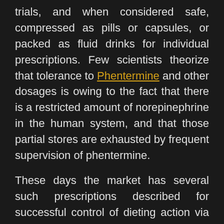trials, and when considered safe, compressed as pills or capsules, or packed as fluid drinks for individual prescriptions. Few scientists theorize that tolerance to Phentermine and other dosages is owing to the fact that there is a restricted amount of norepinephrine in the human system, and that those partial stores are exhausted by frequent supervision of phentermine.
These days the market has several such prescriptions described for successful control of dieting action via control of over –feeding, metabolism un-metabolised or fat burning or fat removal. Few of these show successful result in slimming action, others are not. It is up to the